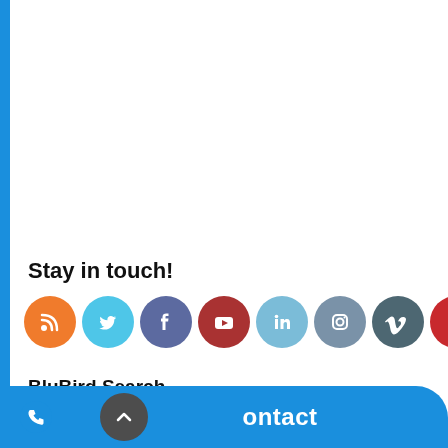Stay in touch!
[Figure (infographic): Row of 8 social media icon circles: RSS (orange), Twitter (light blue), Facebook (slate blue), YouTube (dark red), LinkedIn (light blue), Instagram (grey-blue), Vimeo (dark grey), Pinterest (red)]
BluBird Search
n...
[Figure (infographic): Bottom action bar with blue call button on left (phone icon), dark grey circular up-arrow button in center, and blue Contact button on right]